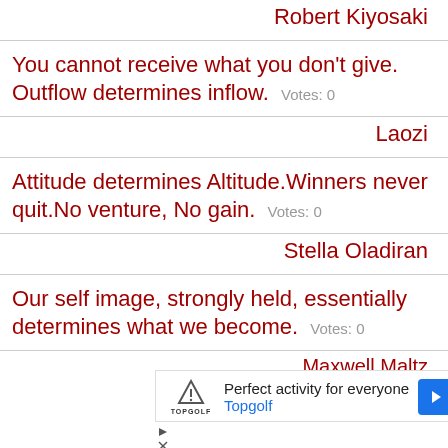Robert Kiyosaki
You cannot receive what you don't give. Outflow determines inflow. Votes: 0
Laozi
Attitude determines Altitude.Winners never quit.No venture, No gain. Votes: 0
Stella Oladiran
Our self image, strongly held, essentially determines what we become. Votes: 0
Maxwell Maltz
[Figure (other): Advertisement for Topgolf: Perfect activity for everyone, with Topgolf logo and navigation arrow icon]